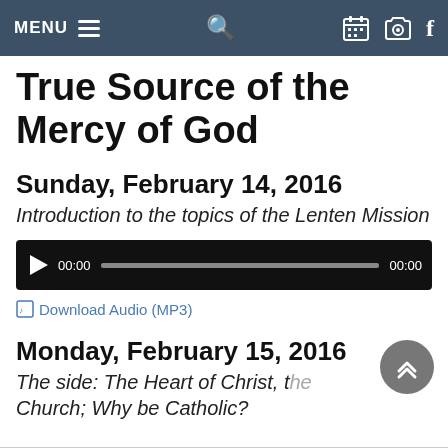MENU
True Source of the Mercy of God
Sunday, February 14, 2016
Introduction to the topics of the Lenten Mission
[Figure (other): Audio player with play button, timecode 00:00, progress bar, and end time 00:00]
Download Audio (MP3)
Monday, February 15, 2016
The side: The Heart of Christ, the Church; Why be Catholic?